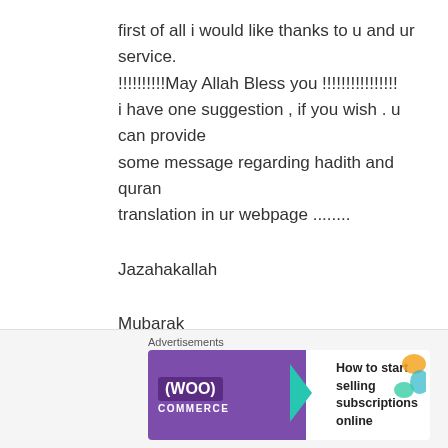first of all i would like thanks to u and ur service. !!!!!!!!!!May Allah Bless you !!!!!!!!!!!!!!!! i have one suggestion , if you wish . u can provide some message regarding hadith and quran translation in ur webpage ........
Jazahakallah
Mubarak
9500684485
[Figure (screenshot): WooCommerce advertisement banner with text 'How to start selling subscriptions online']